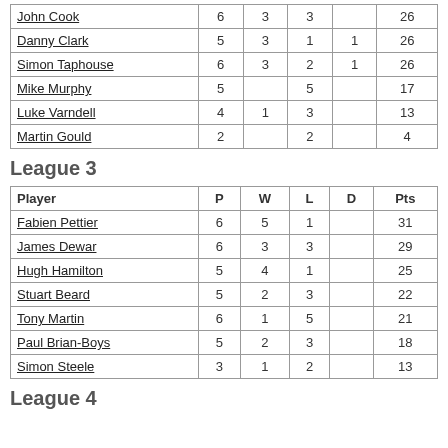| Player | P | W | L | D | Pts |
| --- | --- | --- | --- | --- | --- |
| John Cook | 6 | 3 | 3 |  | 26 |
| Danny Clark | 5 | 3 | 1 | 1 | 26 |
| Simon Taphouse | 6 | 3 | 2 | 1 | 26 |
| Mike Murphy | 5 |  | 5 |  | 17 |
| Luke Varndell | 4 | 1 | 3 |  | 13 |
| Martin Gould | 2 |  | 2 |  | 4 |
League 3
| Player | P | W | L | D | Pts |
| --- | --- | --- | --- | --- | --- |
| Fabien Pettier | 6 | 5 | 1 |  | 31 |
| James Dewar | 6 | 3 | 3 |  | 29 |
| Hugh Hamilton | 5 | 4 | 1 |  | 25 |
| Stuart Beard | 5 | 2 | 3 |  | 22 |
| Tony Martin | 6 | 1 | 5 |  | 21 |
| Paul Brian-Boys | 5 | 2 | 3 |  | 18 |
| Simon Steele | 3 | 1 | 2 |  | 13 |
League 4